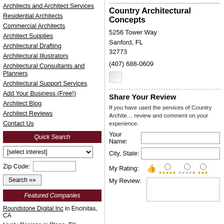Architects and Architect Services
Residential Architects
Commercial Architects
Architect Supplies
Architectural Drafting
Architectural Illustrators
Architectural Consultants and Planners
Architectural Support Services
Add Your Business (Free!)
Architect Blog
Architect Reviews
Contact Us
Quick Search
[select interest]
Zip Code:
Search »»
Featured Companies
Roundstone Digital Inc in Encinitas, CA
Lively Designs in Plano, TX
Country Architectural Concepts
5256 Tower Way
Sanford, FL
32773
(407) 688-0609
Share Your Review
If you have used the services of Country Architectural Concepts, please share your review and comment on your experience.
Your Name:
City, State:
My Rating:
My Review: